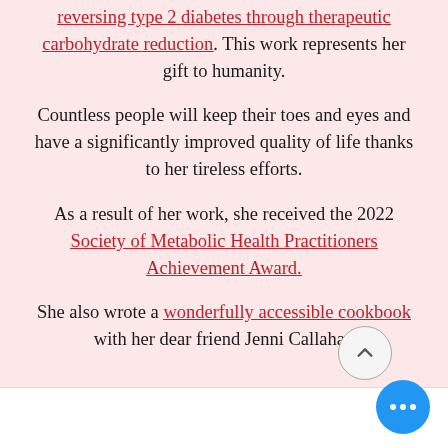reversing type 2 diabetes through therapeutic carbohydrate reduction. This work represents her gift to humanity.
Countless people will keep their toes and eyes and have a significantly improved quality of life thanks to her tireless efforts.
As a result of her work, she received the 2022 Society of Metabolic Health Practitioners Achievement Award.
She also wrote a wonderfully accessible cookbook with her dear friend Jenni Callahan